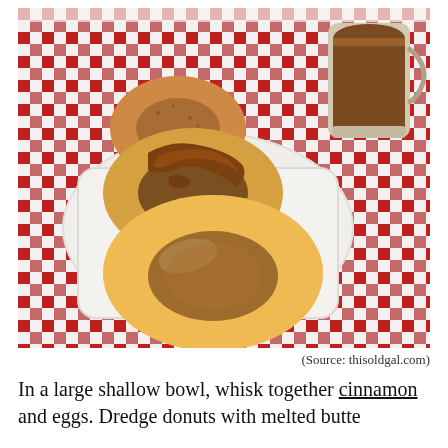[Figure (photo): Three donuts on a white rectangular plate on a red and white checkered tablecloth. One glazed donut in front, one chocolate-glazed donut in the middle, and one cinnamon sugar donut in the back. A glass mug of coffee is visible in the top right corner.]
(Source: thisoldgal.com)
In a large shallow bowl, whisk together cinnamon and eggs. Dredge donuts with melted butter